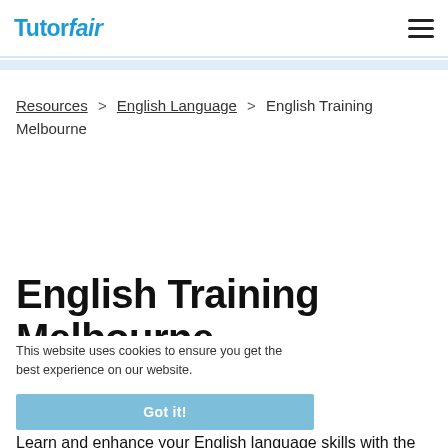TutorFair
Resources > English Language > English Training Melbourne
English Training Melbourne
This website uses cookies to ensure you get the best experience on our website.
March 22, 2018  Dinah G
Got it!
Learn and enhance your English language skills with the